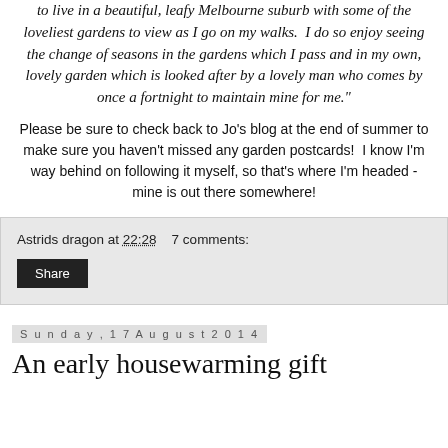highly scented flowers. However, I am lucky enough to live in a beautiful, leafy Melbourne suburb with some of the loveliest gardens to view as I go on my walks. I do so enjoy seeing the change of seasons in the gardens which I pass and in my own, lovely garden which is looked after by a lovely man who comes by once a fortnight to maintain mine for me."
Please be sure to check back to Jo's blog at the end of summer to make sure you haven't missed any garden postcards! I know I'm way behind on following it myself, so that's where I'm headed - mine is out there somewhere!
Astrids dragon at 22:28  7 comments:
Share
Sunday, 17 August 2014
An early housewarming gift